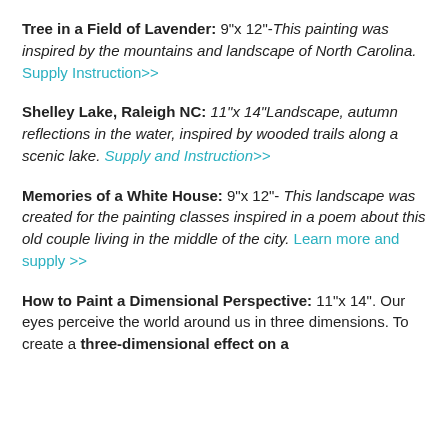Tree in a Field of Lavender: 9"x 12"-This painting was inspired by the mountains and landscape of North Carolina. Supply Instruction>>
Shelley Lake, Raleigh NC: 11"x 14"Landscape, autumn reflections in the water, inspired by wooded trails along a scenic lake. Supply and Instruction>>
Memories of a White House: 9"x 12"- This landscape was created for the painting classes inspired in a poem about this old couple living in the middle of the city. Learn more and supply >>
How to Paint a Dimensional Perspective: 11"x 14". Our eyes perceive the world around us in three dimensions. To create a three-dimensional effect on a...